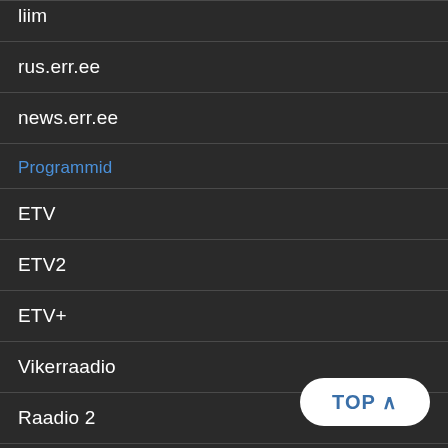liim
rus.err.ee
news.err.ee
Programmid
ETV
ETV2
ETV+
Vikerraadio
Raadio 2
Klassikaraadio
Raadio 4